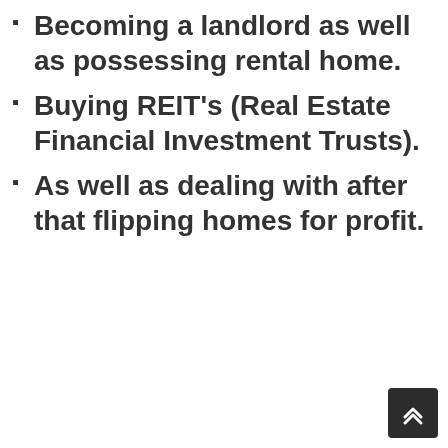Becoming a landlord as well as possessing rental home.
Buying REIT's (Real Estate Financial Investment Trusts).
As well as dealing with after that flipping homes for profit.